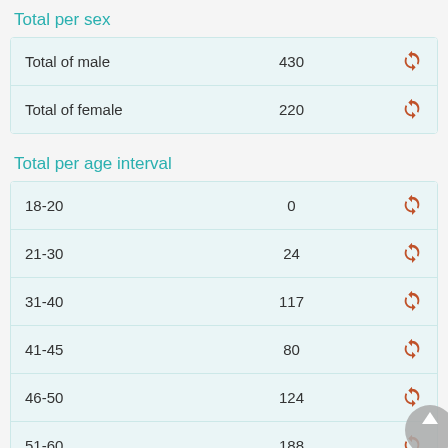Total per sex
|  |  |  |
| --- | --- | --- |
| Total of male | 430 | ↺ |
| Total of female | 220 | ↺ |
Total per age interval
|  |  |  |
| --- | --- | --- |
| 18-20 | 0 | ↺ |
| 21-30 | 24 | ↺ |
| 31-40 | 117 | ↺ |
| 41-45 | 80 | ↺ |
| 46-50 | 124 | ↺ |
| 51-60 | 188 | ↺ |
| 61-70 | 103 | ↺ |
| 71-80 | 14 | ↺ |